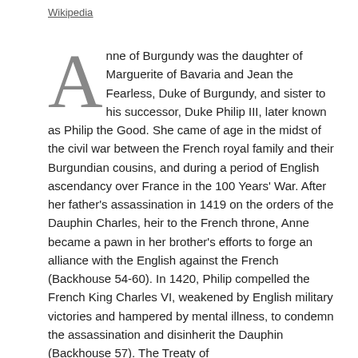Wikipedia
Anne of Burgundy was the daughter of Marguerite of Bavaria and Jean the Fearless, Duke of Burgundy, and sister to his successor, Duke Philip III, later known as Philip the Good. She came of age in the midst of the civil war between the French royal family and their Burgundian cousins, and during a period of English ascendancy over France in the 100 Years' War. After her father's assassination in 1419 on the orders of the Dauphin Charles, heir to the French throne, Anne became a pawn in her brother's efforts to forge an alliance with the English against the French (Backhouse 54-60). In 1420, Philip compelled the French King Charles VI, weakened by English military victories and hampered by mental illness, to condemn the assassination and disinherit the Dauphin (Backhouse 57). The Treaty of